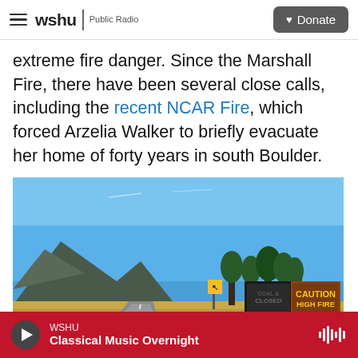wshu | Public Radio — Donate
extreme fire danger. Since the Marshall Fire, there have been several close calls, including the recent NCAR Fire, which forced Arzelia Walker to briefly evacuate her home of forty years in south Boulder.
[Figure (photo): A road curving toward mountains under a clear blue sky, with a yellow caution sign and a large sign reading 'CAUTION HIGH FIRE DANGER' on the right side of the road.]
WSHU — Classical Music Overnight (player bar)